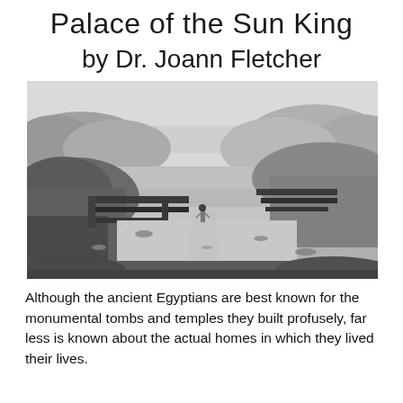Palace of the Sun King
by Dr. Joann Fletcher
[Figure (photo): Black and white historical photograph of an ancient Egyptian excavation site, showing ruins of walls and foundations in a desert landscape with hills in the background and a person standing in the middle distance.]
Although the ancient Egyptians are best known for the monumental tombs and temples they built profusely, far less is known about the actual homes in which they lived their lives.